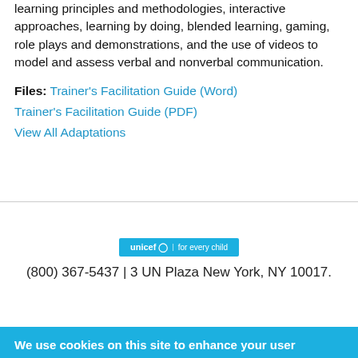learning principles and methodologies, interactive approaches, learning by doing, blended learning, gaming, role plays and demonstrations, and the use of videos to model and assess verbal and nonverbal communication.
Files: Trainer's Facilitation Guide (Word)
Trainer's Facilitation Guide (PDF)
View All Adaptations
[Figure (logo): UNICEF logo badge - blue background with unicef symbol and 'for every child' text]
(800) 367-5437 | 3 UN Plaza New York, NY 10017.
We use cookies on this site to enhance your user experience